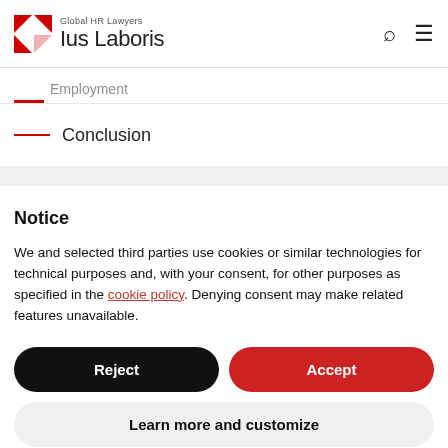Global HR Lawyers | Ius Laboris
Employment
Conclusion
Notice
We and selected third parties use cookies or similar technologies for technical purposes and, with your consent, for other purposes as specified in the cookie policy. Denying consent may make related features unavailable.
Reject
Accept
Learn more and customize